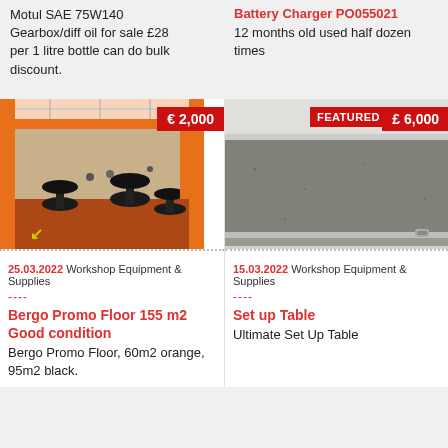Motul SAE 75W140 Gearbox/diff oil for sale £28 per 1 litre bottle can do bulk discount.
Battery Charger PO055021 12 months old used half dozen times
[Figure (photo): Interior of a marquee/event tent with orange walls, round tables with black tablecloths and chairs, price badge €2,000]
[Figure (photo): Close-up of a metal/steel tabletop surface, FEATURED badge and price badge £6,000]
25.03.2022 Workshop Equipment & Supplies
----
Bergo Promo Floor 155 m2 Good condition
Bergo Promo Floor, 60m2 orange, 95m2 black.
15.03.2022 Workshop Equipment & Supplies
----
Set up Table
Ultimate Set Up Table